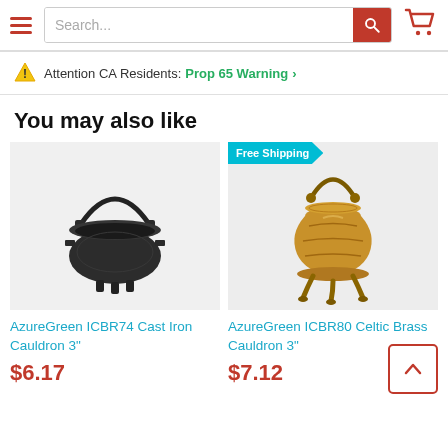Search... [search bar] [cart icon]
Attention CA Residents: Prop 65 Warning >
You may also like
[Figure (photo): AzureGreen ICBR74 Cast Iron Cauldron 3 inch - black cast iron cauldron with handle and three feet]
AzureGreen ICBR74 Cast Iron Cauldron 3"
$6.17
[Figure (photo): AzureGreen ICBR80 Celtic Brass Cauldron 3 inch - gold brass cauldron with decorative handle and three legs, with Free Shipping badge]
AzureGreen ICBR80 Celtic Brass Cauldron 3"
$7.12